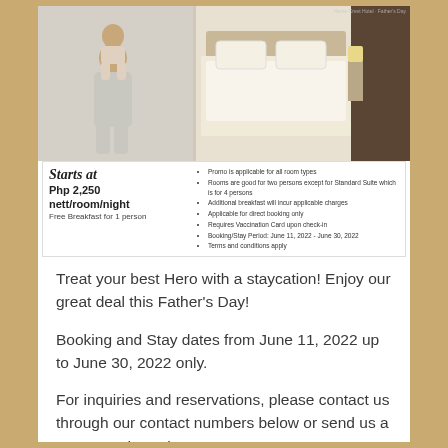[Figure (photo): Hotel room photo collage showing a father with child on shoulders on the left, and a hotel bedroom with white bed and curtains on the right. Below is a promotional banner showing 'Starts at Php 2,250 nett/room/night' with bullet point terms and conditions.]
Treat your best Hero with a staycation! Enjoy our great deal this Father's Day!
Booking and Stay dates from June 11, 2022 up to June 30, 2022 only.
For inquiries and reservations, please contact us through our contact numbers below or send us a message through our FB Page: Home Crest Hotel.